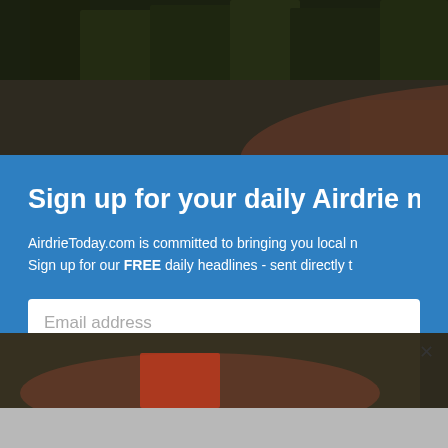[Figure (photo): Outdoor photo with dark trees and foliage in the background, partially visible at the top of the page behind a modal overlay]
Sign up for your daily Airdrie new
AirdrieToday.com is committed to bringing you local n Sign up for our FREE daily headlines - sent directly t
Email address
Don't worry: we won't share your information with anyone, and you
[Figure (photo): Outdoor photo continuation at the bottom with person in red clothing visible]